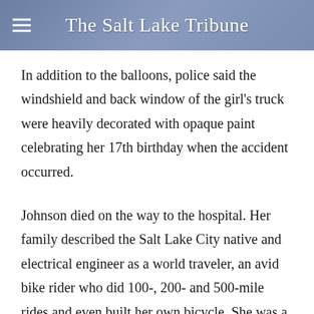The Salt Lake Tribune
In addition to the balloons, police said the windshield and back window of the girl's truck were heavily decorated with opaque paint celebrating her 17th birthday when the accident occurred.
Johnson died on the way to the hospital. Her family described the Salt Lake City native and electrical engineer as a world traveler, an avid bike rider who did 100-, 200- and 500-mile rides and even built her own bicycle. She was a graduate of the University of Utah and was active in the community.